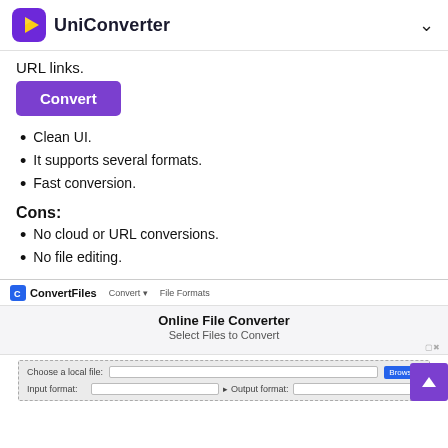UniConverter
URL links.
Convert
Clean UI.
It supports several formats.
Fast conversion.
Cons:
No cloud or URL conversions.
No file editing.
[Figure (screenshot): Screenshot of ConvertFiles website showing Online File Converter interface with a file upload form including Choose a local file, Browse button, Input format and Output format dropdowns.]